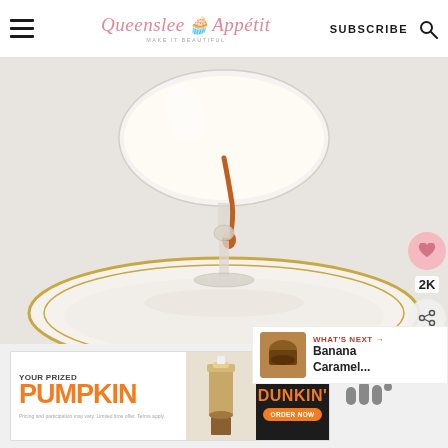Queenslee Appétit — SUBSCRIBE
[Figure (photo): Close-up photo of caramel dripping from the bottom of a clear glass coupe or martini glass onto a gold-rimmed white plate, set against a white background. The caramel drip is orange-amber colored, hanging from the base of the glass stem.]
2K
WHAT'S NEXT →
Banana Caramel...
[Figure (infographic): Dunkin' advertisement banner: 'YOUR PRIZED PUMPKIN' with pumpkin cream cold brew drink image, 'PUMPKIN CREAM COLD BREW DUNKIN' ORDER NOW' button on dark background.]